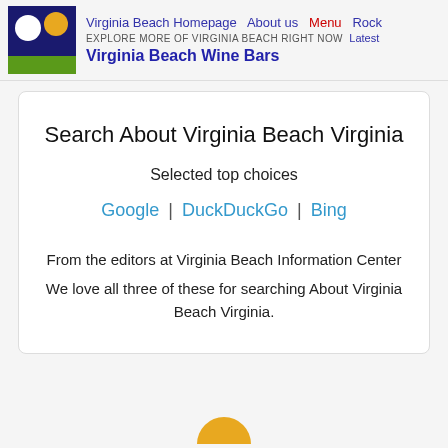Virginia Beach Homepage  About us  Menu  Rock
EXPLORE MORE OF VIRGINIA BEACH RIGHT NOW  Latest
Virginia Beach Wine Bars
Search About Virginia Beach Virginia
Selected top choices
Google | DuckDuckGo | Bing
From the editors at Virginia Beach Information Center
We love all three of these for searching About Virginia Beach Virginia.